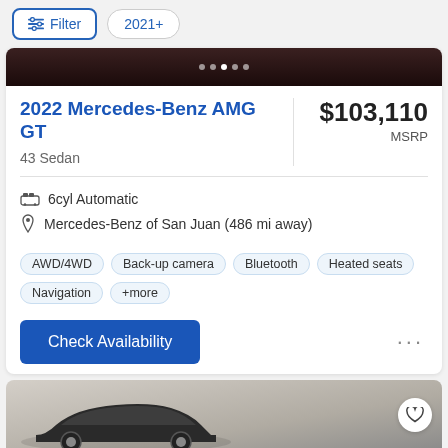Filter  2021+
[Figure (photo): Dark partial car image at top of listing card]
2022 Mercedes-Benz AMG GT
$103,110 MSRP
43 Sedan
6cyl Automatic
Mercedes-Benz of San Juan (486 mi away)
AWD/4WD  Back-up camera  Bluetooth  Heated seats  Navigation  +more
Check Availability
[Figure (photo): Bottom portion of a dark sedan car listing preview with heart/favorite button]